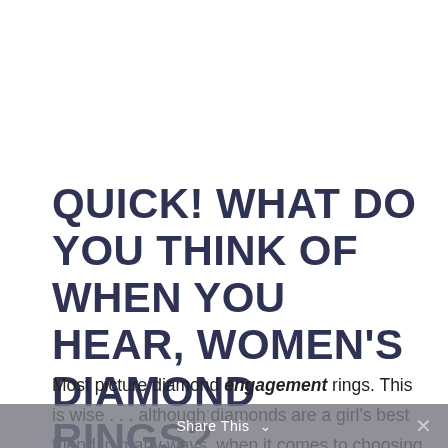QUICK! WHAT DO YOU THINK OF WHEN YOU HEAR, WOMEN'S DIAMOND RINGS?
Most picture diamond engagement rings. This is wise . . . although diamonds are a girl's best friend in many ways, when it comes to choosing them for jewelry pieces. Think sparkly bling, class rings, wedding bands or eternity rings. Then of course, women who are born in April have a diamond
Share This ∨